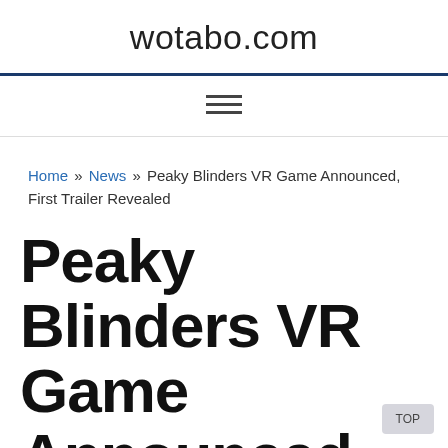wotabo.com
≡
Home » News » Peaky Blinders VR Game Announced, First Trailer Revealed
Peaky Blinders VR Game Announced, First Trailer